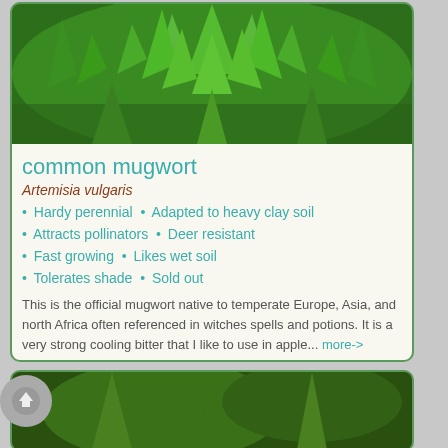[Figure (photo): Close-up photo of common mugwort (Artemisia vulgaris) green leafy plant with distinctive lobed leaves]
common mugwort
Artemisia vulgaris
Hardy perennial  •  Adapted to heavy clay soil
Attracts pollinators  •  Deer resistant
Fast growing  •  Likes wet soil
Tolerates shade  •  Sold out
This is the official mugwort native to temperate Europe, Asia, and north Africa often referenced in witches spells and potions.  It is a very strong cooling bitter that I like to use in apple... more->
[Figure (photo): Partial view of another plant photo at bottom of page]